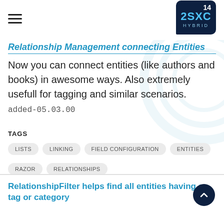2SXC HYBRID 14
Relationship Management connecting Entities
Now you can connect entities (like authors and books) in awesome ways. Also extremely usefull for tagging and similar scenarios. added-05.03.00
TAGS
LISTS
LINKING
FIELD CONFIGURATION
ENTITIES
RAZOR
RELATIONSHIPS
RelationshipFilter helps find all entities having a tag or category